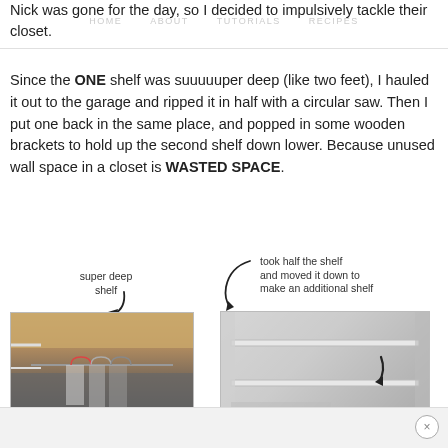HOME   ABOUT   TUTORIALS   RECIPES
Nick was gone for the day, so I decided to impulsively tackle their closet.
Since the ONE shelf was suuuuuper deep (like two feet), I hauled it out to the garage and ripped it in half with a circular saw. Then I put one back in the same place, and popped in some wooden brackets to hold up the second shelf down lower. Because unused wall space in a closet is WASTED SPACE.
[Figure (photo): Before photo of closet with one super deep shelf, clothes hanging below. Annotation arrow pointing to shelf labeled 'super deep shelf'.]
[Figure (photo): After photo of closet showing two shelves. Annotation: 'took half the shelf and moved it down to make an additional shelf'.]